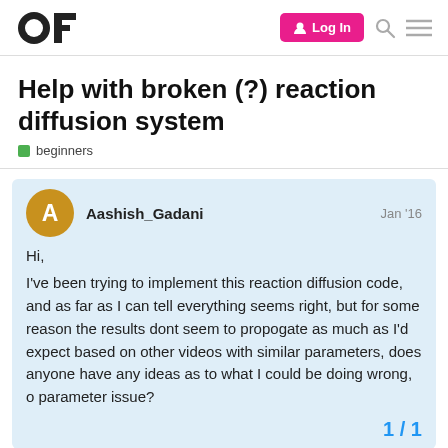OF | Log In
Help with broken (?) reaction diffusion system
beginners
Aashish_Gadani  Jan '16
Hi,
I've been trying to implement this reaction diffusion code, and as far as I can tell everything seems right, but for some reason the results dont seem to propogate as much as I'd expect based on other videos with similar parameters, does anyone have any ideas as to what I could be doing wrong, o parameter issue?
1 / 1